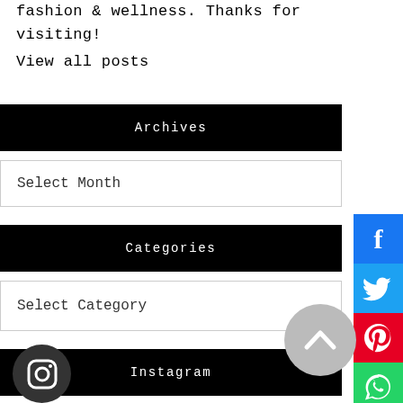fashion & wellness. Thanks for visiting!
View all posts
Archives
Select Month
Categories
Select Category
Instagram